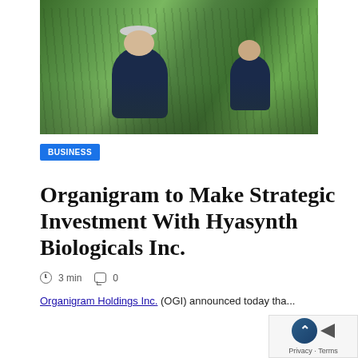[Figure (photo): Two workers in navy uniforms tending to plants in a greenhouse/outdoor growing facility. One worker in foreground wearing a hair net, another in background crouching near plants.]
BUSINESS
Organigram to Make Strategic Investment With Hyasynth Biologicals Inc.
3 min  0
Organigram Holdings Inc. (OGI) announced today tha...